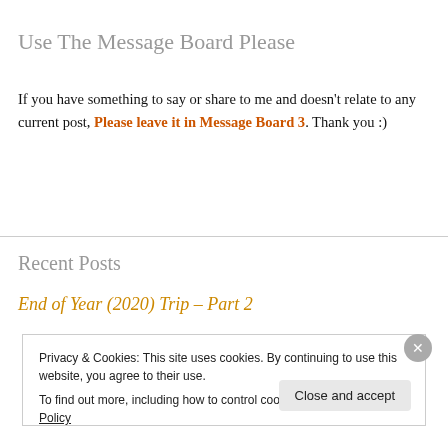Use The Message Board Please
If you have something to say or share to me and doesn't relate to any current post, Please leave it in Message Board 3. Thank you :)
Recent Posts
End of Year (2020) Trip – Part 2
Privacy & Cookies: This site uses cookies. By continuing to use this website, you agree to their use.
To find out more, including how to control cookies, see here: Cookie Policy
Close and accept